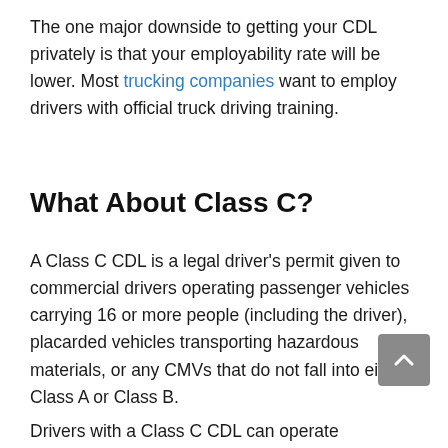The one major downside to getting your CDL privately is that your employability rate will be lower. Most trucking companies want to employ drivers with official truck driving training.
What About Class C?
A Class C CDL is a legal driver's permit given to commercial drivers operating passenger vehicles carrying 16 or more people (including the driver), placarded vehicles transporting hazardous materials, or any CMVs that do not fall into either Class A or Class B.
Drivers with a Class C CDL can operate